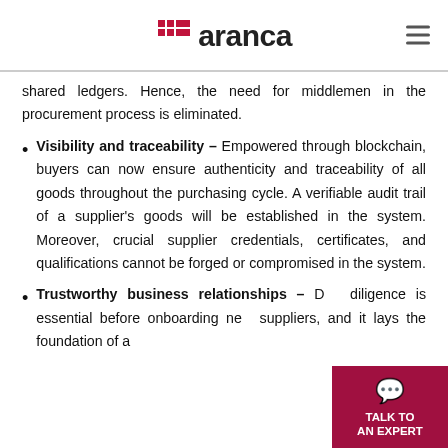aranca
shared ledgers. Hence, the need for middlemen in the procurement process is eliminated.
Visibility and traceability – Empowered through blockchain, buyers can now ensure authenticity and traceability of all goods throughout the purchasing cycle. A verifiable audit trail of a supplier's goods will be established in the system. Moreover, crucial supplier credentials, certificates, and qualifications cannot be forged or compromised in the system.
Trustworthy business relationships – Due diligence is essential before onboarding new suppliers, and it lays the foundation of a